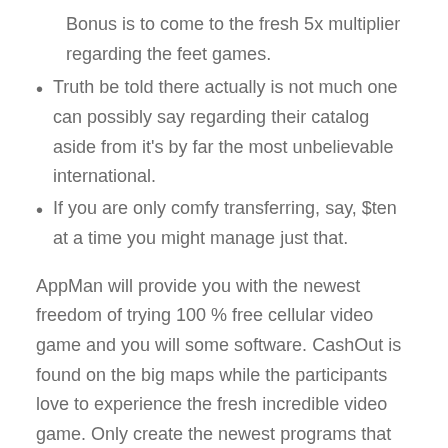Bonus is to come to the fresh 5x multiplier regarding the feet games.
Truth be told there actually is not much one can possibly say regarding their catalog aside from it’s by far the most unbelievable international.
If you are only comfy transferring, say, $ten at a time you might manage just that.
AppMan will provide you with the newest freedom of trying 100 % free cellular video game and you will some software. CashOut is found on the big maps while the participants love to experience the fresh incredible video game. Only create the newest programs that provides you money, earn huge and possess all of the